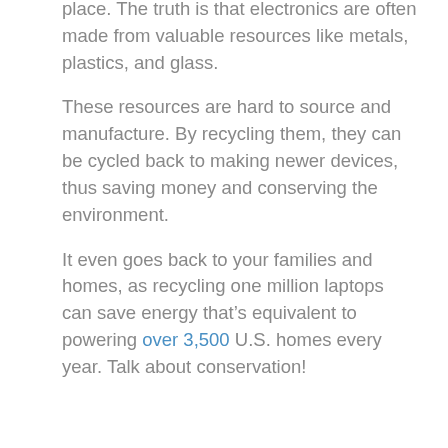place. The truth is that electronics are often made from valuable resources like metals, plastics, and glass.
These resources are hard to source and manufacture. By recycling them, they can be cycled back to making newer devices, thus saving money and conserving the environment.
It even goes back to your families and homes, as recycling one million laptops can save energy that’s equivalent to powering over 3,500 U.S. homes every year. Talk about conservation!